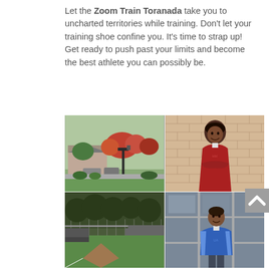Let the Zoom Train Toranada take you to uncharted territories while training. Don't let your training shoe confine you. It's time to strap up! Get ready to push past your limits and become the best athlete you can possibly be.
[Figure (photo): A 2x2 grid of photos. Top left: outdoor campus scene with trees, a lamppost, and a building. Top right: a young man in a red hoodie smiling with arms crossed, leaning against a brick wall. Bottom left: a baseball field or sports field. Bottom right: a young man in a blue athletic jacket standing near glass windows.]